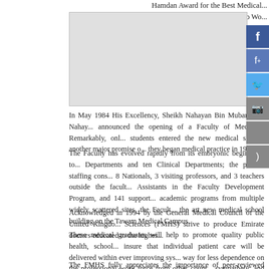Hamdan Award for the Best Medical... Arab Wo... 20...
[Figure (photo): Photo placeholder area, partially cropped]
In May 1984 His Excellency, Sheikh Nahayan Bin Mubarak Al Nahay... announced the opening of a Faculty of Medicine. Remarkably, onl... students entered the new medical school; another major promise o... they began medical practice in 1994.
The Faculty has evolved rapidly from its embryonic beginnings to... Departments and ten Clinical Departments; the present staffing cons... 8 Nationals, 3 visiting professors, and 3 teachers outside the facult... Assistants in the Faculty Development Program, and 141 support... academic programs from multiple widely scattered sites, the Facult... the art new medical school building on the Tawam Medical Campus.
Acknowledged in 1994 by the General Medical Council of the United Kingdo... Sciences (FMHS) strive to produce Emirate doctors educated to the highes...
These medical graduates will help to promote quality public health, school... insure that individual patient care will be delivered within ever improving sys... way for less dependence on the professional work force from other count... sympathetic and cost-effective health care for all UAE residents.
The FMHS fully appreciates the importance of peer-reviewed scholarshi...